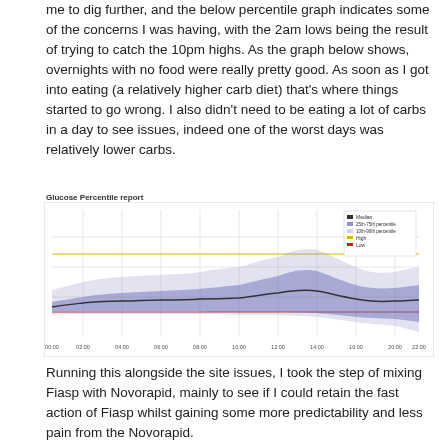me to dig further, and the below percentile graph indicates some of the concerns I was having, with the 2am lows being the result of trying to catch the 10pm highs. As the graph below shows, overnights with no food were really pretty good. As soon as I got into eating (a relatively higher carb diet) that's where things started to go wrong. I also didn't need to be eating a lot of carbs in a day to see issues, indeed one of the worst days was relatively lower carbs.
Glucose Percentile report
[Figure (continuous-plot): Glucose Percentile report showing continuous glucose monitor data over a 24-hour period. The chart shows shaded percentile bands (light purple for outer percentiles, darker purple/gray for inner percentiles) with a central median line. There is a yellow high threshold line and a red low threshold line. The x-axis shows time from approximately 00:00 to 23:00. The glucose levels show a relatively flat overnight period, with peaks around 13:00-14:00 and 22:00. A legend in the top right shows: Median, 25th-75th percentile, 10th-90th percentile, High, Low.]
Running this alongside the site issues, I took the step of mixing Fiasp with Novorapid, mainly to see if I could retain the fast action of Fiasp whilst gaining some more predictability and less pain from the Novorapid.